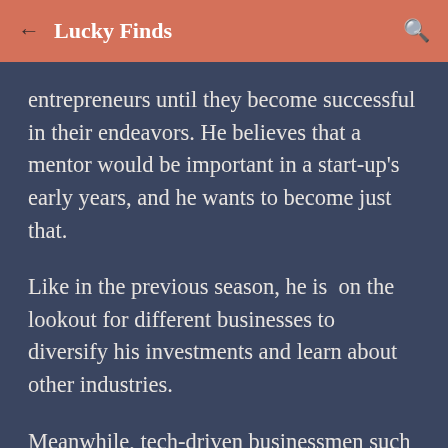Lucky Finds
entrepreneurs until they become successful in their endeavors. He believes that a mentor would be important in a start-up's early years, and he wants to become just that.
Like in the previous season, he is on the lookout for different businesses to diversify his investments and learn about other industries.
Meanwhile, tech-driven businessmen such as co-founding owner of Philippines AirAsia Congressman Mikee Romero, blockchain